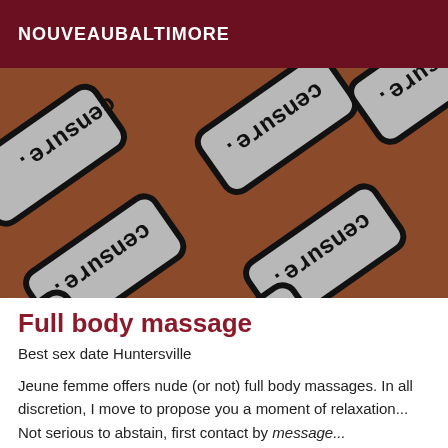NOUVEAUBALTIMORE
[Figure (photo): Photo showing multiple censure stamp tiles with text 'censure' written upside down, arranged diagonally on a warm brown background. The stamps are gray with black rounded rectangle borders.]
Full body massage
Best sex date Huntersville
Jeune femme offers nude (or not) full body massages. In all discretion, I move to propose you a moment of relaxation... Not serious to abstain, first contact by message...